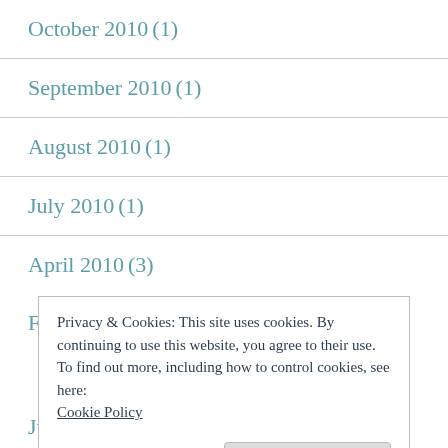October 2010 (1)
September 2010 (1)
August 2010 (1)
July 2010 (1)
April 2010 (3)
February 2010 (2)
Privacy & Cookies: This site uses cookies. By continuing to use this website, you agree to their use.
To find out more, including how to control cookies, see here: Cookie Policy
June 2008 (3)